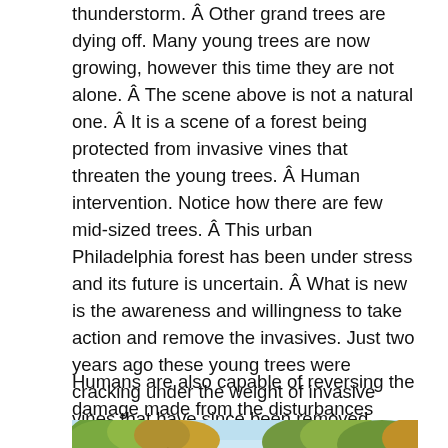thunderstorm. Â Other grand trees are dying off. Many young trees are now growing, however this time they are not alone. Â The scene above is not a natural one. Â It is a scene of a forest being protected from invasive vines that threaten the young trees. Â Human intervention. Notice how there are few mid-sized trees. Â This urban Philadelphia forest has been under stress and its future is uncertain. Â What is new is the awareness and willingness to take action and remove the invasives. Just two years ago these young trees were cracking under the weight of invasive vines that have since been removed. Now, the picture above is the new natural.
Humans are also capable of reversing the damage made from the disturbances created from our own botanical history.
[Figure (photo): Photograph of tree canopy viewed from below against a light blue sky, showing autumn foliage in greens and oranges.]